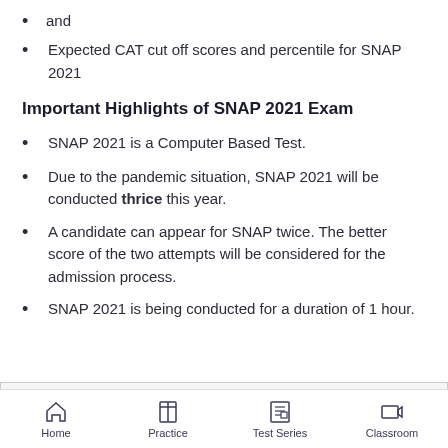and
Expected CAT cut off scores and percentile for SNAP 2021
Important Highlights of SNAP 2021 Exam
SNAP 2021 is a Computer Based Test.
Due to the pandemic situation, SNAP 2021 will be conducted thrice this year.
A candidate can appear for SNAP twice. The better score of the two attempts will be considered for the admission process.
SNAP 2021 is being conducted for a duration of 1 hour.
Home   Practice   Test Series   Classroom